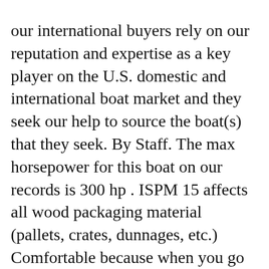our international buyers rely on our reputation and expertise as a key player on the U.S. domestic and international boat market and they seek our help to source the boat(s) that they seek. By Staff. The max horsepower for this boat on our records is 300 hp . ISPM 15 affects all wood packaging material (pallets, crates, dunnages, etc.) Comfortable because when you go fishing with Seaswirl... Prior owner used it to go scuba diving. Partner up with a Pro (like us). 1998 Seaswirl 2150 Striper IO 1998 Seaswirl 2150 Striper ... Buying a boat directly from us or through our brokerage divisionBoats International, Inc. is our own in-house discount boat dealership. As is true for all facets of our business we believe that there are no shortcuts to sustained success in business (or life for that matter). I think 14. That said we recommend that you seek the